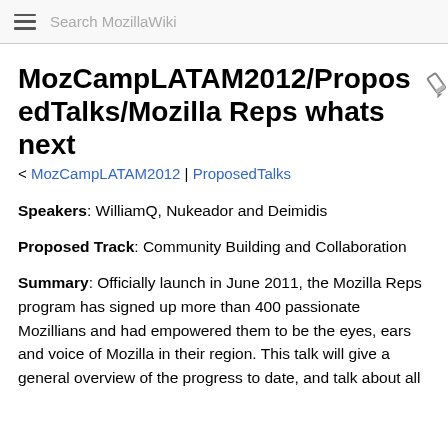Search MozillaWiki
MozCampLATAM2012/ProposedTalks/Mozilla Reps whats next
< MozCampLATAM2012 | ProposedTalks
Speakers: WilliamQ, Nukeador and Deimidis
Proposed Track: Community Building and Collaboration
Summary: Officially launch in June 2011, the Mozilla Reps program has signed up more than 400 passionate Mozillians and had empowered them to be the eyes, ears and voice of Mozilla in their region. This talk will give a general overview of the progress to date, and talk about all